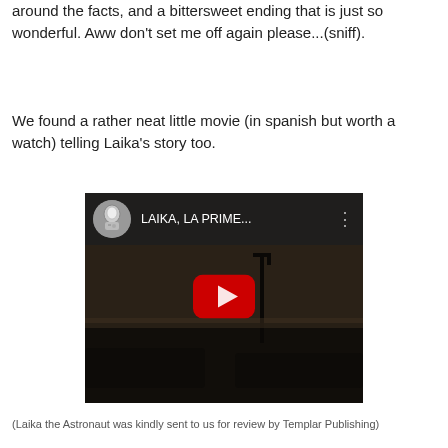around the facts, and a bittersweet ending that is just so wonderful. Aww don't set me off again please...(sniff).
We found a rather neat little movie (in spanish but worth a watch) telling Laika's story too.
[Figure (screenshot): YouTube video thumbnail showing 'LAIKA, LA PRIME...' with a play button in the center, dark/moody background image, and a cosmonaut icon on the left of the title bar.]
(Laika the Astronaut was kindly sent to us for review by Templar Publishing)